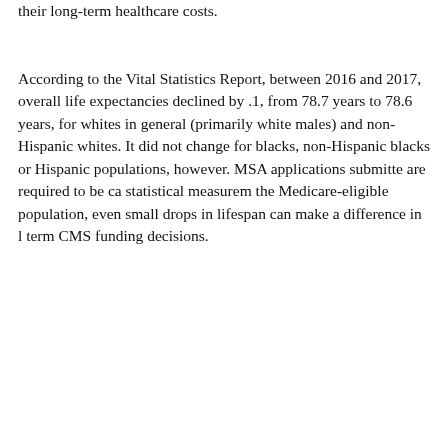their long-term healthcare costs.
According to the Vital Statistics Report, between 2016 and 2017, overall life expectancies declined by .1, from 78.7 years to 78.6 years, for whites in general (primarily white males) and non-Hispanic whites. It did not change for blacks, non-Hispanic blacks or Hispanic populations, however. MSA applications submitted are required to be captured as statistical measurements for the Medicare-eligible population, even small drops in lifespan can make a difference in long-term CMS funding decisions.